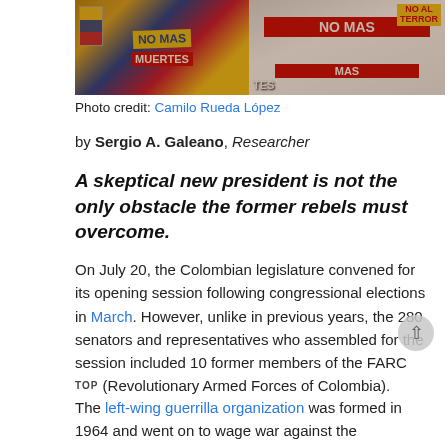[Figure (photo): Protest scene with colorful signs reading 'NO MAS MUERTES' and 'NO MAS' against a Colombian flag backdrop.]
Photo credit: Camilo Rueda López
by Sergio A. Galeano, Researcher
A skeptical new president is not the only obstacle the former rebels must overcome.
On July 20, the Colombian legislature convened for its opening session following congressional elections in March. However, unlike in previous years, the 280 senators and representatives who assembled for the session included 10 former members of the FARC (Revolutionary Armed Forces of Colombia).
The left-wing guerrilla organization was formed in 1964 and went on to wage war against the Colombian state for the next 50 years, during which the fighting claimed